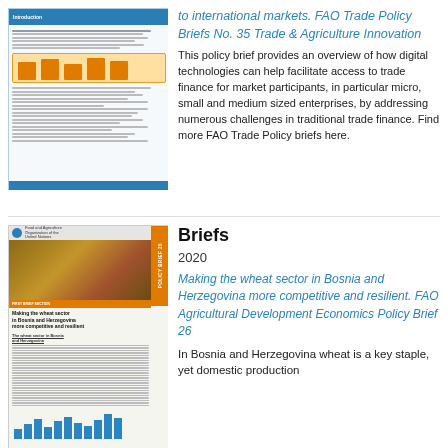[Figure (illustration): Thumbnail of FAO Trade Policy Brief No. 35 document cover showing text and a bar chart]
to international markets. FAO Trade Policy Briefs No. 35 Trade & Agriculture Innovation
This policy brief provides an overview of how digital technologies can help facilitate access to trade finance for market participants, in particular micro, small and medium sized enterprises, by addressing numerous challenges in traditional trade finance. Find more FAO Trade Policy briefs here.
[Figure (illustration): Thumbnail of FAO Agricultural Development Economics Policy Brief 26 document cover showing wheat sector information and charts]
Briefs
2020
Making the wheat sector in Bosnia and Herzegovina more competitive and resilient. FAO Agricultural Development Economics Policy Brief 26
In Bosnia and Herzegovina wheat is a key staple, yet domestic production